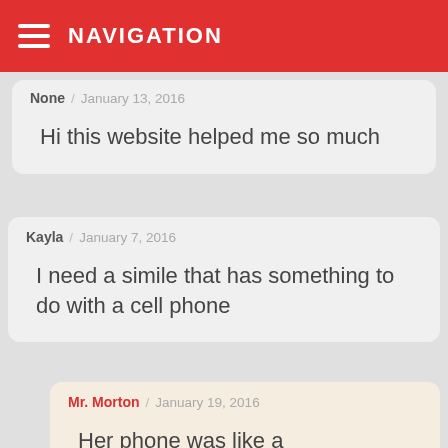NAVIGATION
None / January 13, 2016
Hi this website helped me so much
Kayla / January 7, 2016
I need a simile that has something to do with a cell phone
Mr. Morton / January 19, 2016
Her phone was like a